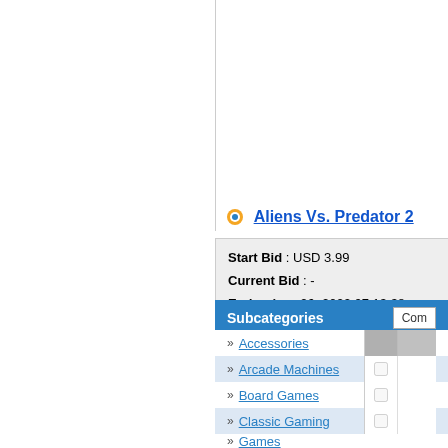Aliens Vs. Predator 2
Start Bid : USD 3.99
Current Bid : -
Ends : Aug. 26, 2022 07:13:38
Subcategories
» Accessories
» Arcade Machines
» Board Games
» Classic Gaming
» Games
» Geneses
» Guides
» Indoor Games
» Merchandise & Magazines
» Nintendo 64
» Nintendo Gameboy Classic
» Nintendo Gameboy Colour